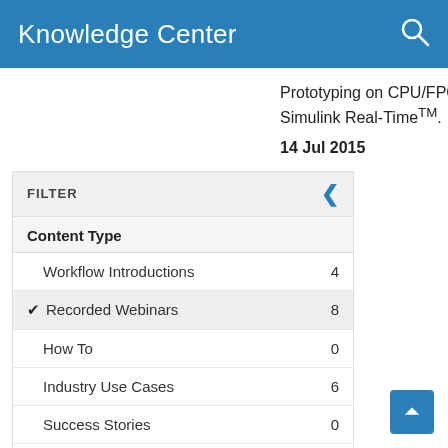Knowledge Center
Prototyping on CPU/FPGA Target Hardware with Simulink Real-Time™.
14 Jul 2015
FILTER
Content Type
Workflow Introductions  4
✔ Recorded Webinars  8
How To  0
Industry Use Cases  6
Success Stories  0
Reference Applications  1
Whitepapers  3